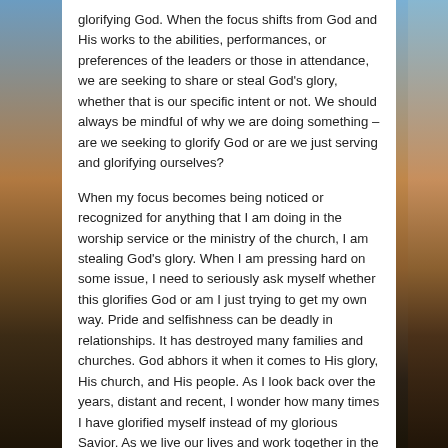glorifying God. When the focus shifts from God and His works to the abilities, performances, or preferences of the leaders or those in attendance, we are seeking to share or steal God's glory, whether that is our specific intent or not. We should always be mindful of why we are doing something – are we seeking to glorify God or are we just serving and glorifying ourselves?
When my focus becomes being noticed or recognized for anything that I am doing in the worship service or the ministry of the church, I am stealing God's glory. When I am pressing hard on some issue, I need to seriously ask myself whether this glorifies God or am I just trying to get my own way. Pride and selfishness can be deadly in relationships. It has destroyed many families and churches. God abhors it when it comes to His glory, His church, and His people. As I look back over the years, distant and recent, I wonder how many times I have glorified myself instead of my glorious Savior. As we live our lives and work together in the church, it is important to keep the glory of God before us at all times.